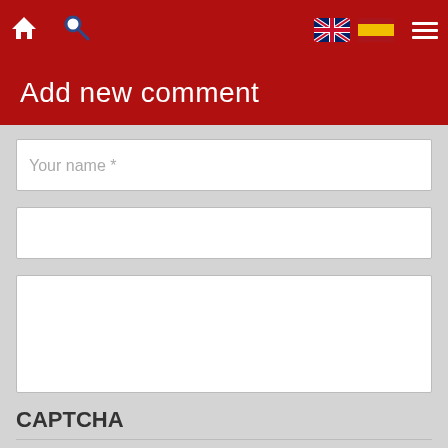Navigation bar with home icon, search icon, UK flag, Spanish flag, and hamburger menu
Add new comment
Your name *
(empty input field)
(empty textarea)
CAPTCHA
This question is for testing whether or not you are a human visitor and to prevent automated spam submissions.